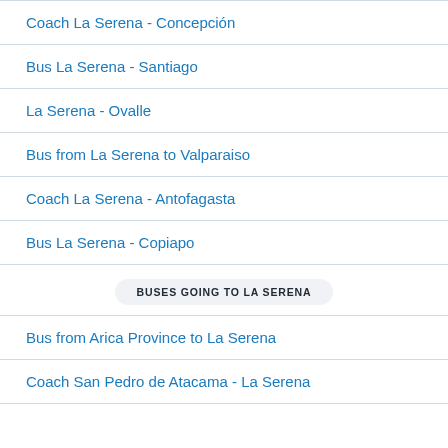Coach La Serena - Concepción
Bus La Serena - Santiago
La Serena - Ovalle
Bus from La Serena to Valparaiso
Coach La Serena - Antofagasta
Bus La Serena - Copiapo
BUSES GOING TO LA SERENA
Bus from Arica Province to La Serena
Coach San Pedro de Atacama - La Serena